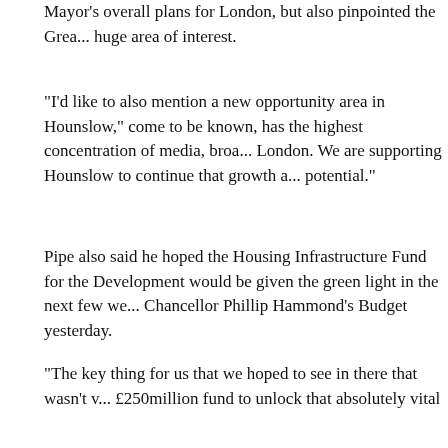Mayor's overall plans for London, but also pinpointed the Cre... huge area of interest.
“I’d like to also mention a new opportunity area in Hounslow,” come to be known, has the highest concentration of media, broa... London. We are supporting Hounslow to continue that growth a... potential.”
Pipe also said he hoped the Housing Infrastructure Fund for the Development would be given the green light in the next few we... Chancellor Phillip Hammond’s Budget yesterday.
“The key thing for us that we hoped to see in there that wasn’t v... £250million fund to unlock that absolutely vital regeneration are...
“The infrastructure fund is vital to build all the roads and bridge... deliver all the jobs and houses that the Old Oak development wi... that to be part of the budget for a few months now, but these thi... expected, so we are still confident that will still be announced in...